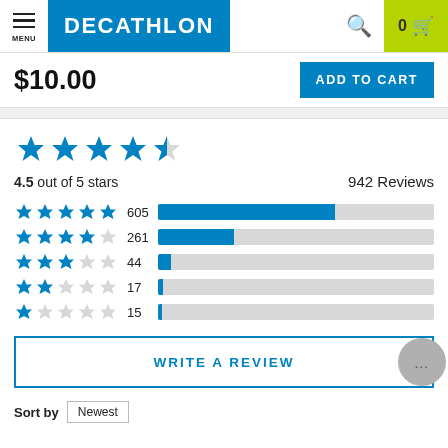MENU | DECATHLON | Search | 0 Cart
$10.00
ADD TO CART
[Figure (other): 4.5 star rating (large stars)]
4.5 out of 5 stars   942 Reviews
[Figure (bar-chart): Review breakdown]
WRITE A REVIEW
Sort by  Newest